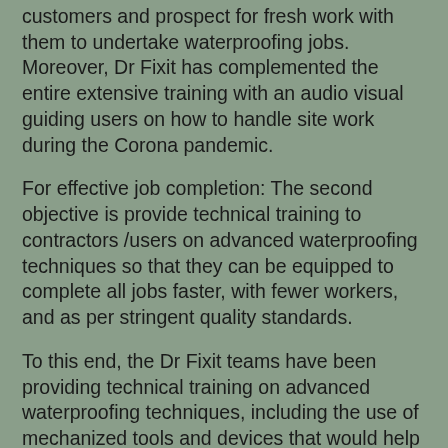customers and prospect for fresh work with them to undertake waterproofing jobs.  Moreover, Dr Fixit has complemented the entire extensive training with an audio visual guiding users on how to handle site work during the Corona pandemic.
For effective job completion: The second objective is provide technical training to contractors /users on advanced waterproofing techniques so that they can be equipped to complete all jobs faster, with fewer workers, and as per stringent quality standards.
To this end, the Dr Fixit teams have been providing technical training on advanced waterproofing techniques, including the use of mechanized tools and devices that would help them speedily complete and deliver their jobs to the best quality. Dr Fixit has partnered with multiple companies that manufactures these mechanization equipments and has been training its users on these machines.
For the mental peace of their hardworking and safety-trained contractors and their teams, Dr Fixit has stepped up to also